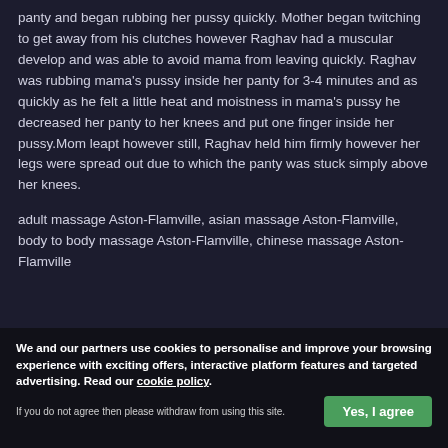panty and began rubbing her pussy quickly. Mother began twitching to get away from his clutches however Raghav had a muscular develop and was able to avoid mama from leaving quickly. Raghav was rubbing mama's pussy inside her panty for 3-4 minutes and as quickly as he felt a little heat and moistness in mama's pussy he decreased her panty to her knees and put one finger inside her pussy.Mom leapt however still, Raghav held him firmly however her legs were spread out due to which the panty was stuck simply above her knees.
adult massage Aston-Flamville, asian massage Aston-Flamville, body to body massage Aston-Flamville, chinese massage Aston-Flamville
We and our partners use cookies to personalise and improve your browsing experience with exciting offers, interactive platform features and targeted advertising. Read our cookie policy.
If you do not agree then please withdraw from using this site.